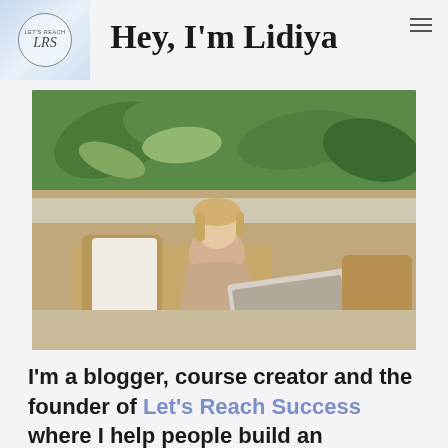[Figure (logo): Let's Reach Success (LRS) circular logo on light blue gradient background]
Hey, I'm Lidiya
[Figure (photo): Young blonde woman sitting on a wicker outdoor chair with a laptop, smiling at camera, tropical plants in background]
I'm a blogger, course creator and the founder of Let's Reach Success where I help people build an abundant, value-driven